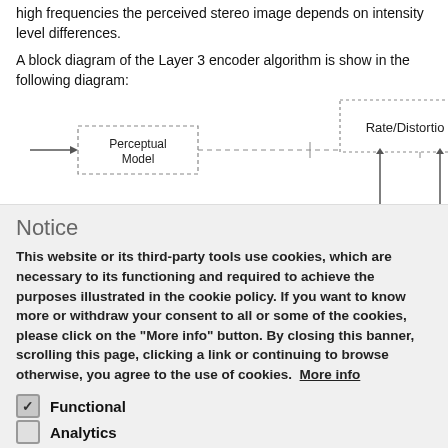high frequencies the perceived stereo image depends on intensity level differences.
A block diagram of the Layer 3 encoder algorithm is show in the following diagram:
[Figure (flowchart): Partial block diagram of Layer 3 encoder algorithm showing a Perceptual Model block connected by a dashed line to a Rate/Distortion block (partially visible). Arrows indicate signal flow.]
Notice
This website or its third-party tools use cookies, which are necessary to its functioning and required to achieve the purposes illustrated in the cookie policy. If you want to know more or withdraw your consent to all or some of the cookies, please click on the "More info" button. By closing this banner, scrolling this page, clicking a link or continuing to browse otherwise, you agree to the use of cookies. More info
Functional
Analytics
Save preferences